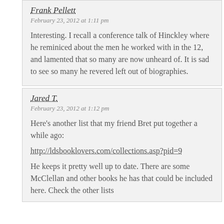Frank Pellett
February 23, 2012 at 1:11 pm
Interesting. I recall a conference talk of Hinckley where he reminiced about the men he worked with in the 12, and lamented that so many are now unheard of. It is sad to see so many he revered left out of biographies.
Jared T.
February 23, 2012 at 1:12 pm
Here's another list that my friend Bret put together a while ago:
http://ldsbooklovers.com/collections.asp?pid=9
He keeps it pretty well up to date. There are some McClellan and other books he has that could be included here. Check the other lists